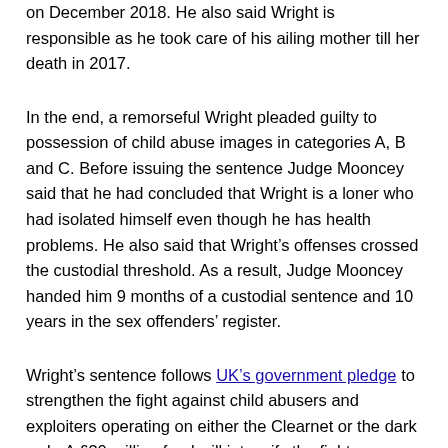on December 2018. He also said Wright is responsible as he took care of his ailing mother till her death in 2017.
In the end, a remorseful Wright pleaded guilty to possession of child abuse images in categories A, B and C. Before issuing the sentence Judge Mooncey said that he had concluded that Wright is a loner who had isolated himself even though he has health problems. He also said that Wright’s offenses crossed the custodial threshold. As a result, Judge Mooncey handed him 9 months of a custodial sentence and 10 years in the sex offenders’ register.
Wright’s sentence follows UK’s government pledge to strengthen the fight against child abusers and exploiters operating on either the Clearnet or the dark web. A £30 million fund will intensify the fight.